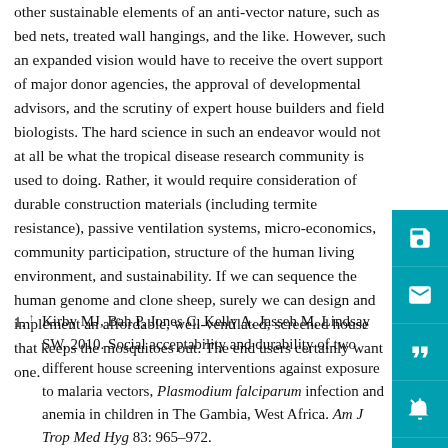other sustainable elements of an anti-vector nature, such as bed nets, treated wall hangings, and the like. However, such an expanded vision would have to receive the overt support of major donor agencies, the approval of developmental advisors, and the scrutiny of expert house builders and field biologists. The hard science in such an endeavor would not at all be what the tropical disease research community is used to doing. Rather, it would require consideration of durable construction materials (including termite resistance), passive ventilation systems, micro-economics, community participation, structure of the human living environment, and sustainability. If we can sequence the human genome and clone sheep, surely we can design and implement an affordable, well-ventilated, screened house that keeps the mosquitoes out. The end users certainly want one.
1. Kirby MJ, Bah P, Jones C, Kelly A, Jasseh M, Lindsay SW, 2010. Social acceptability and durability of two different house screening interventions against exposure to malaria vectors, Plasmodium falciparum infection and anemia in children in The Gambia, West Africa. Am J Trop Med Hyg 83: 965–972.